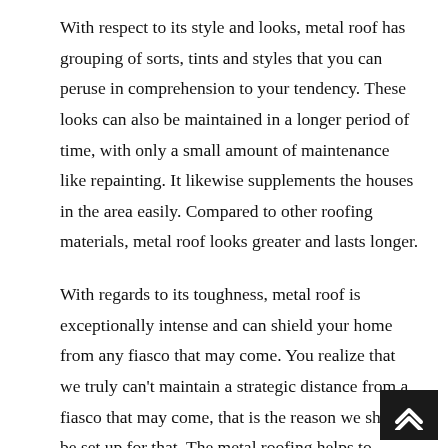With respect to its style and looks, metal roof has grouping of sorts, tints and styles that you can peruse in comprehension to your tendency. These looks can also be maintained in a longer period of time, with only a small amount of maintenance like repainting. It likewise supplements the houses in the area easily. Compared to other roofing materials, metal roof looks greater and lasts longer.
With regards to its toughness, metal roof is exceptionally intense and can shield your home from any fiasco that may come. You realize that we truly can't maintain a strategic distance from a fiasco that may come, that is the reason we should be set up for that. The metal roofing helps to protect your home against string winds, fire or extreme temperatures.